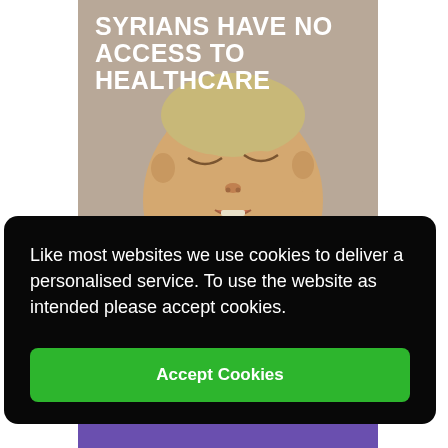[Figure (photo): Close-up photo of a young Syrian child lying down with eyes closed, wearing an orange and blue plaid shirt, resting on a grey surface. Bold white text overlaid at the top reads 'SYRIANS HAVE NO ACCESS TO HEALTHCARE'.]
SYRIANS HAVE NO ACCESS TO HEALTHCARE
Like most websites we use cookies to deliver a personalised service. To use the website as intended please accept cookies.
Accept Cookies